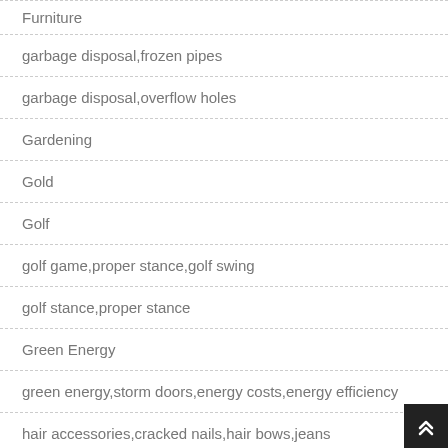Furniture
garbage disposal,frozen pipes
garbage disposal,overflow holes
Gardening
Gold
Golf
golf game,proper stance,golf swing
golf stance,proper stance
Green Energy
green energy,storm doors,energy costs,energy efficiency
hair accessories,cracked nails,hair bows,jeans